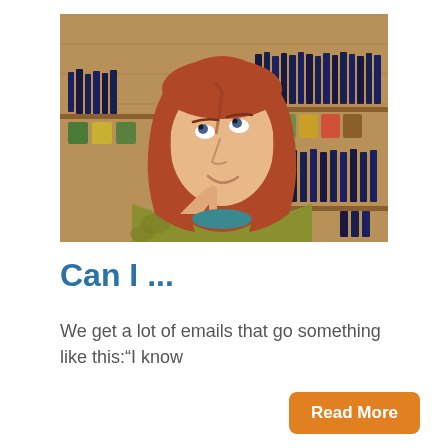[Figure (photo): A woman with long red hair wearing a yellow-green jacket, posing thoughtfully with her finger to her chin, looking upward. Behind her are shelves of small dark bottles with colorful labels in a wooden cabinet, appearing to be an herbal or supplement store.]
Can I ...
We get a lot of emails that go something like this:“I know
Read More